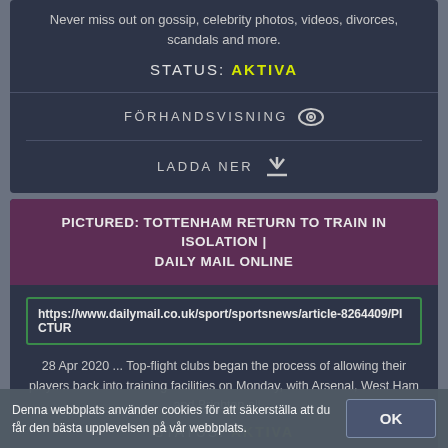Never miss out on gossip, celebrity photos, videos, divorces, scandals and more.
STATUS: AKTIVA
FÖRHANDSVISNING
LADDA NER
PICTURED: TOTTENHAM RETURN TO TRAIN IN ISOLATION | DAILY MAIL ONLINE
https://www.dailymail.co.uk/sport/sportsnews/article-8264409/PICTUR
28 Apr 2020 ... Top-flight clubs began the process of allowing their players back into training facilities on Monday, with Arsenal, West Ham and Brighton all ...
STATUS: AKTIVA
Denna webbplats använder cookies för att säkerställa att du får den bästa upplevelsen på vår webbplats.